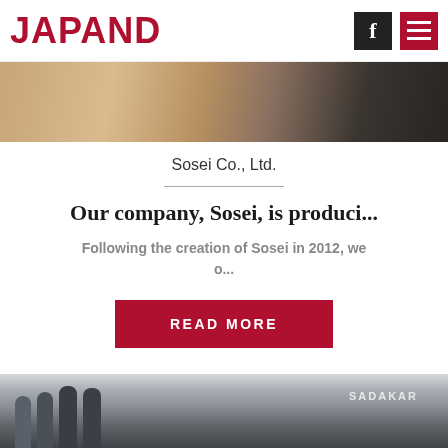JAPAND
[Figure (photo): Partial view of a photo showing people and wooden furniture/background, cropped at top of card]
Sosei Co., Ltd.
Our company, Sosei, is produci...
Following the creation of Sosei in 2012, we o...
READ MORE
[Figure (photo): Four people standing in front of a corrugated metal wall with SADAKARA sign visible; two women on left, two men on right]